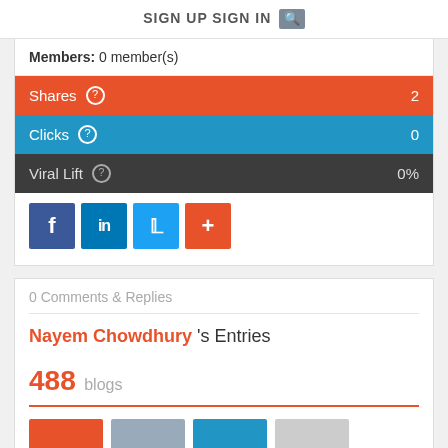SIGN UP  SIGN IN  [search icon]
Members: 0 member(s)
Shares  2
Clicks  0
Viral Lift  0%
[Figure (infographic): Social sharing buttons: Facebook (f), LinkedIn (in), Twitter (bird), Plus (+)]
0 Comments & Replies
Nayem Chowdhury 's Entries
488 blogs
[Figure (infographic): Thumbnail preview strip at the bottom showing colored blocks]